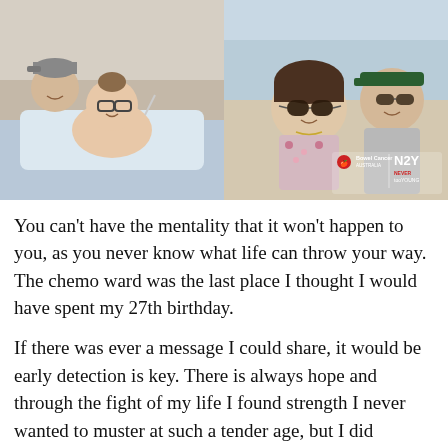[Figure (photo): Two side-by-side photos. Left: a young man in a cap and a woman with glasses lying in a hospital bed smiling. Right: a woman with large sunglasses and a man with sunglasses outdoors, with Bowel Cancer Australia and N2Y logos overlaid.]
You can't have the mentality that it won't happen to you, as you never know what life can throw your way. The chemo ward was the last place I thought I would have spent my 27th birthday.
If there was ever a message I could share, it would be early detection is key. There is always hope and through the fight of my life I found strength I never wanted to muster at such a tender age, but I did